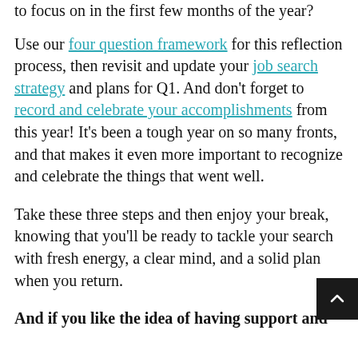to focus on in the first few months of the year?
Use our four question framework for this reflection process, then revisit and update your job search strategy and plans for Q1. And don't forget to record and celebrate your accomplishments from this year! It's been a tough year on so many fronts, and that makes it even more important to recognize and celebrate the things that went well.
Take these three steps and then enjoy your break, knowing that you'll be ready to tackle your search with fresh energy, a clear mind, and a solid plan when you return.
And if you like the idea of having support and